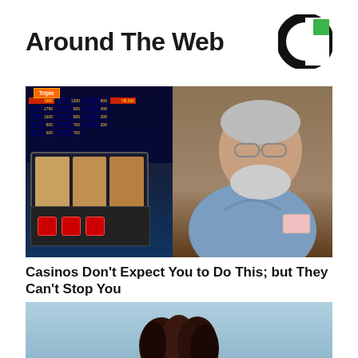Around The Web
[Figure (logo): Circular logo with black C shape and green square accent — Taboola/content recommendation logo]
[Figure (photo): Elderly man in blue shirt standing next to a Triple Fire Blazing 7s slot machine in a casino]
Casinos Don't Expect You to Do This; but They Can't Stop You
BuzzDaily Winners
[Figure (photo): Partial image of a woman with curly hair, cropped at bottom of page]